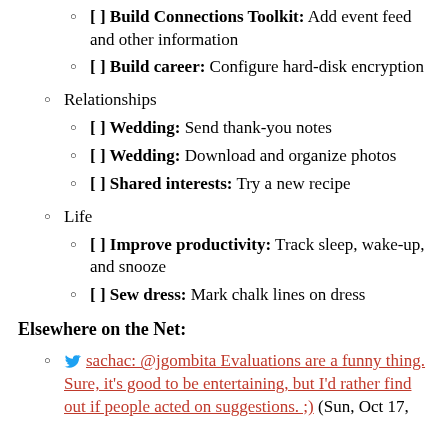[ ] Build Connections Toolkit: Add event feed and other information
[ ] Build career: Configure hard-disk encryption
Relationships
[ ] Wedding: Send thank-you notes
[ ] Wedding: Download and organize photos
[ ] Shared interests: Try a new recipe
Life
[ ] Improve productivity: Track sleep, wake-up, and snooze
[ ] Sew dress: Mark chalk lines on dress
Elsewhere on the Net:
sachac: @jgombita Evaluations are a funny thing. Sure, it's good to be entertaining, but I'd rather find out if people acted on suggestions. ;) (Sun, Oct 17,